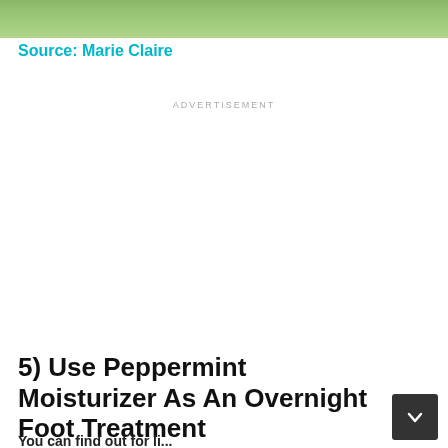[Figure (photo): Partial photo showing a woman in a pink top with green foliage background, cropped at top of page]
Source: Marie Claire
ADVERTISEMENT
5) Use Peppermint Moisturizer As An Overnight Foot Treatment
You can find out for li...